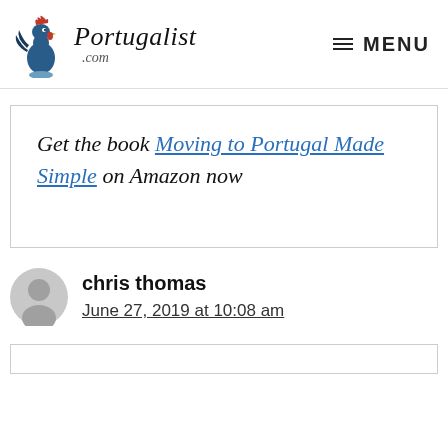Portugalist .com  MENU
Get the book Moving to Portugal Made Simple on Amazon now
chris thomas
June 27, 2019 at 10:08 am